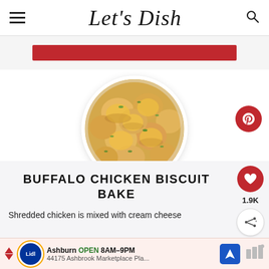Let's Dish
[Figure (photo): Circular food photo of buffalo chicken biscuit bake — golden biscuits with melted cheese and green herbs in a baking dish]
BUFFALO CHICKEN BISCUIT BAKE
Shredded chicken is mixed with cream cheese
[Figure (infographic): Ad banner: Lidl store in Ashburn, OPEN 8AM-9PM, 44175 Ashbrook Marketplace Pla...]